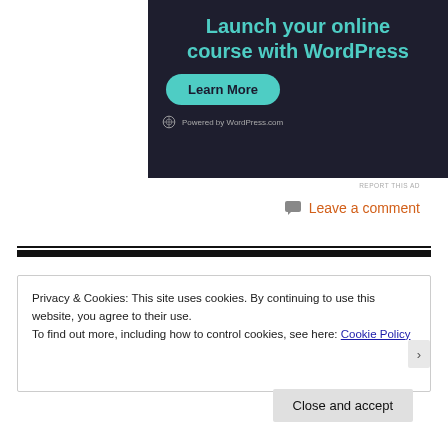[Figure (other): WordPress.com advertisement banner with dark navy background. Large teal text reads 'Launch your online course with WordPress'. A teal rounded button labeled 'Learn More' is below. At the bottom, a WordPress logo with 'Powered by WordPress.com' in small text.]
REPORT THIS AD
Leave a comment
Privacy & Cookies: This site uses cookies. By continuing to use this website, you agree to their use.
To find out more, including how to control cookies, see here: Cookie Policy
Close and accept